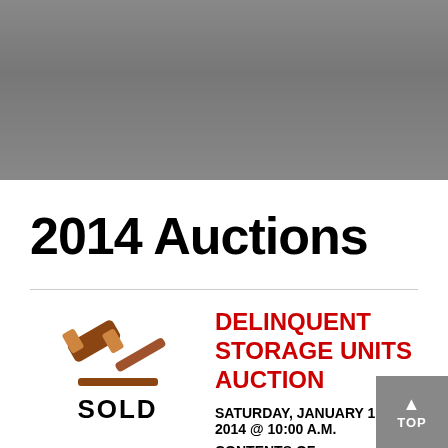[Figure (photo): Gray gradient header image banner]
2014 Auctions
[Figure (illustration): Gavel icon with SOLD text below]
DELINQUENT STORAGE UNITS AUCTION
SATURDAY, JANUARY 11, 2014 @ 10:00 A.M.
CONTENTS OF APPROXIMATELY 6 UNITS OF